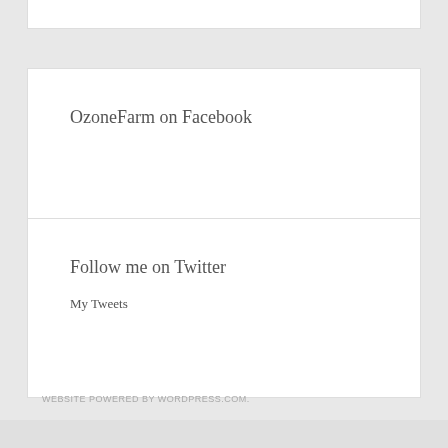OzoneFarm on Facebook
Follow me on Twitter
My Tweets
WEBSITE POWERED BY WORDPRESS.COM.